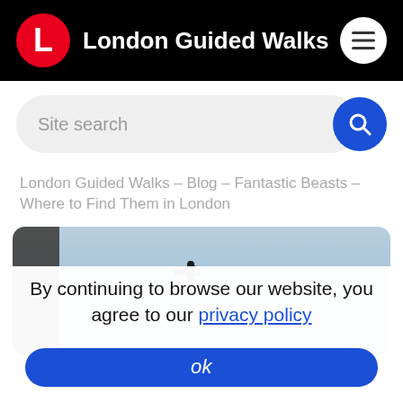London Guided Walks
[Figure (screenshot): Site search input bar with magnifying glass icon on blue circle button]
London Guided Walks – Blog – Fantastic Beasts – Where to Find Them in London
[Figure (photo): Partial photo showing a bird silhouette against a light blue sky with a building edge visible]
By continuing to browse our website, you agree to our privacy policy
ok